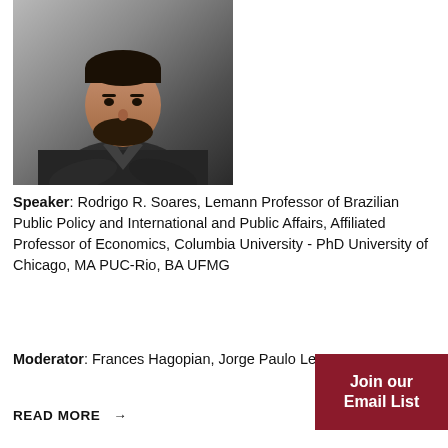[Figure (photo): Headshot photo of a man in a dark suit jacket with arms crossed, dark background]
Speaker: Rodrigo R. Soares, Lemann Professor of Brazilian Public Policy and International and Public Affairs, Affiliated Professor of Economics, Columbia University - PhD University of Chicago, MA PUC-Rio, BA UFMG
Moderator: Frances Hagopian, Jorge Paulo Lemann...
READ MORE →
Join our Email List